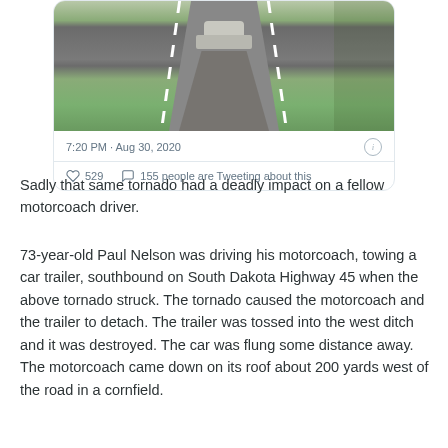[Figure (screenshot): Screenshot of a tweet showing a photo of a road with a vehicle ahead, taken at 7:20 PM Aug 30, 2020, with 529 likes and 155 people Tweeting about this.]
Sadly that same tornado had a deadly impact on a fellow motorcoach driver.
73-year-old Paul Nelson was driving his motorcoach, towing a car trailer, southbound on South Dakota Highway 45 when the above tornado struck. The tornado caused the motorcoach and the trailer to detach. The trailer was tossed into the west ditch and it was destroyed. The car was flung some distance away. The motorcoach came down on its roof about 200 yards west of the road in a cornfield.